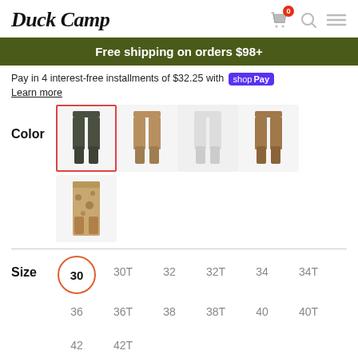[Figure (logo): Duck Camp logo in italic serif font]
Free shipping on orders $98+
Pay in 4 interest-free installments of $32.25 with shop Pay
Learn more
[Figure (photo): Color selector with 5 pants thumbnails: camo (selected, red border), tan, light gray/blank, brown, and desert camo]
Color
Size
30 (selected), 30T, 32, 32T, 34, 34T, 36, 36T, 38, 38T, 40, 40T, 42, 42T